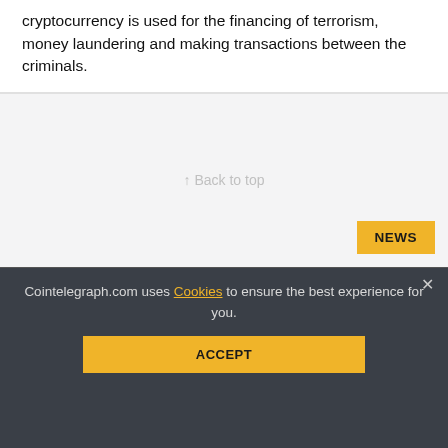cryptocurrency is used for the financing of terrorism, money laundering and making transactions between the criminals.
[Figure (other): Light gray placeholder block with 'Back to top' text and a yellow NEWS badge in the bottom right corner]
Iran... crypto in foreign trade
AUG 23, 2022 | by ...
Corporate lobbyists urge the government to create a proper
Cointelegraph.com uses Cookies to ensure the best experience for you.
ACCEPT